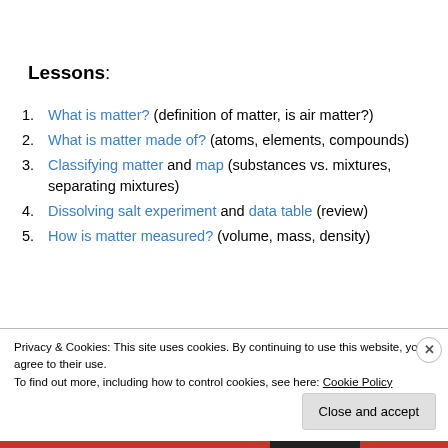Lessons:
1. What is matter? (definition of matter, is air matter?)
2. What is matter made of? (atoms, elements, compounds)
3. Classifying matter and map (substances vs. mixtures, separating mixtures)
4. Dissolving salt experiment and data table (review)
5. How is matter measured? (volume, mass, density)
Privacy & Cookies: This site uses cookies. By continuing to use this website, you agree to their use.
To find out more, including how to control cookies, see here: Cookie Policy